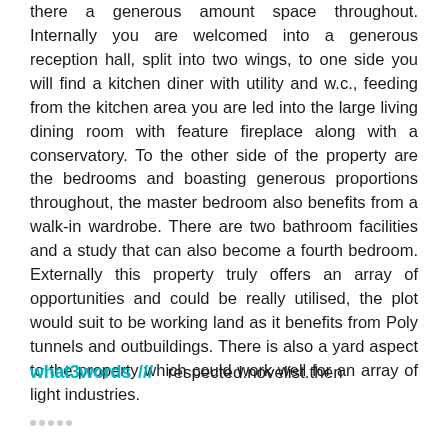there a generous amount space throughout. Internally you are welcomed into a generous reception hall, split into two wings, to one side you will find a kitchen diner with utility and w.c., feeding from the kitchen area you are led into the large living dining room with feature fireplace along with a conservatory. To the other side of the property are the bedrooms and boasting generous proportions throughout, the master bedroom also benefits from a walk-in wardrobe. There are two bathroom facilities and a study that can also become a fourth bedroom. Externally this property truly offers an array of opportunities and could be really utilised, the plot would suit to be working land as it benefits from Poly tunnels and outbuildings. There is also a yard aspect to the property which could work well for an array of light industries.
what3words /// respected.novelist.then